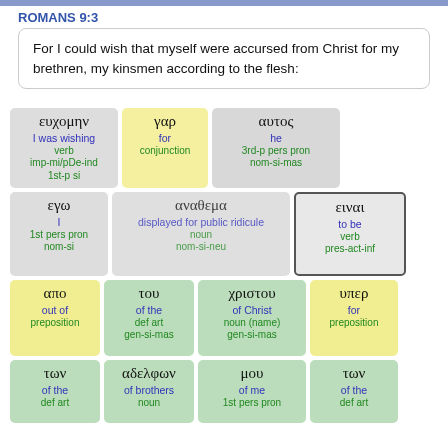ROMANS 9:3
For I could wish that myself were accursed from Christ for my brethren, my kinsmen according to the flesh:
[Figure (infographic): Greek word analysis grid showing lemmas with English translations and grammatical tags for Romans 9:3: ευχομην (I was wishing, verb, imp-mi/pDe-ind, 1st-p si), γαρ (for, conjunction), αυτος (he, 3rd-p pers pron, nom-si-mas), εγω (I, 1st pers pron, nom-si), αναθεμα (displayed for public ridicule, noun, nom-si-neu), ειναι (to be, verb, pres-act-inf), απο (out of, preposition), του (of the, def art, gen-si-mas), χριστου (of Christ, noun (name), gen-si-mas), υπερ (for, preposition), των (of the, def art), αδελφων (of brothers, noun), μου (of me, 1st pers pron), των (of the, def art)]